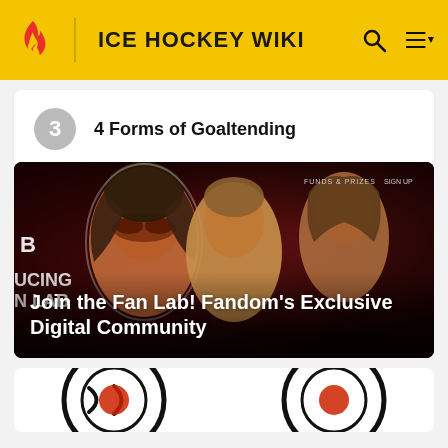ICE HOCKEY WIKI
3 — 4 Forms of Goaltending
[Figure (photo): Promotional banner for Fandom Fan Lab featuring three comic/movie characters on a dark red background, with text 'Join the Fan Lab! Fandom's Exclusive Digital Community']
Join the Fan Lab! Fandom's Exclusive Digital Community
[Figure (illustration): Partial bottom strip showing a stylized illustration of hockey-related characters or logo in black and white on white background]